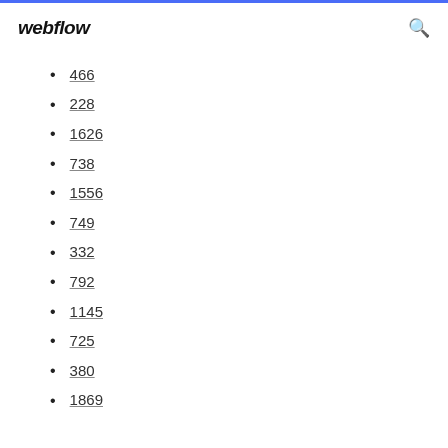webflow
466
228
1626
738
1556
749
332
792
1145
725
380
1869